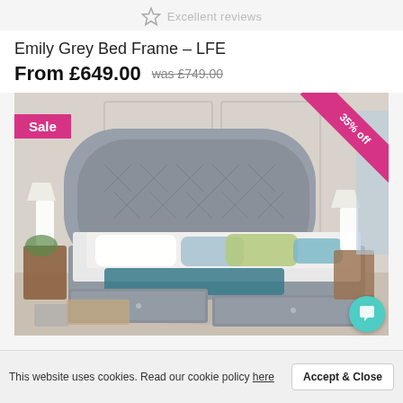Excellent reviews
Emily Grey Bed Frame – LFE
From £649.00  was £749.00
[Figure (photo): Emily Grey Bed Frame with tufted headboard and storage drawers, shown in a styled bedroom setting. Sale badge in top-left corner. '35% off' ribbon in top-right corner.]
This website uses cookies. Read our cookie policy here